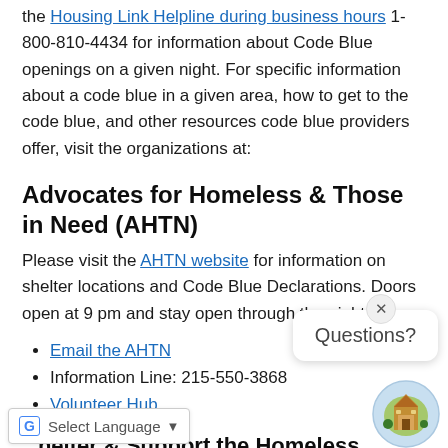the Housing Link Helpline during business hours 1-800-810-4434 for information about Code Blue openings on a given night. For specific information about a code blue in a given area, how to get to the code blue, and other resources code blue providers offer, visit the organizations at:
Advocates for Homeless & Those in Need (AHTN)
Please visit the AHTN website for information on shelter locations and Code Blue Declarations. Doors open at 9 pm and stay open through the night only.
Email the AHTN
Information Line: 215-550-3868
Volunteer Hub
Shelter & Support the Homeless (CSSH)
Please visit the CSSH website for information on